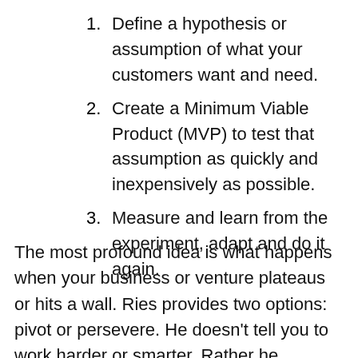1. Define a hypothesis or assumption of what your customers want and need.
2. Create a Minimum Viable Product (MVP) to test that assumption as quickly and inexpensively as possible.
3. Measure and learn from the experiment, adapt and do it again.
The most profound idea is what happens when your business or venture plateaus or hits a wall. Ries provides two options: pivot or persevere. He doesn't tell you to work harder or smarter. Rather he suggests you can either